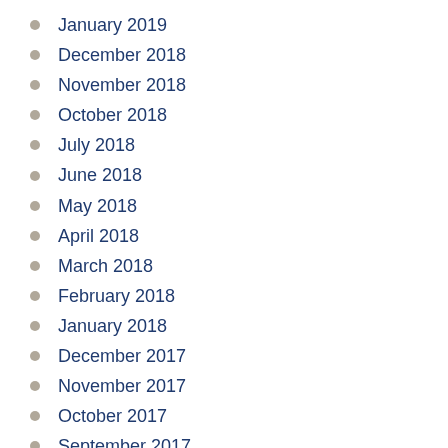January 2019
December 2018
November 2018
October 2018
July 2018
June 2018
May 2018
April 2018
March 2018
February 2018
January 2018
December 2017
November 2017
October 2017
September 2017
August 2017
July 2017
June 2017
May 2017
April 2017
March 2017